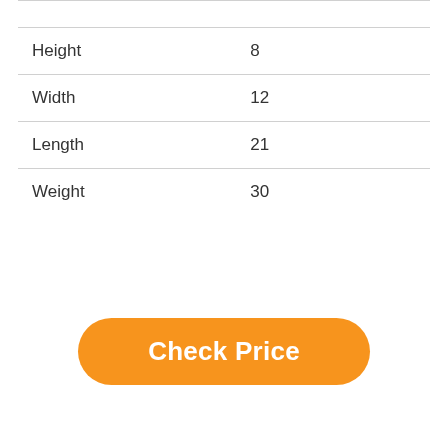| Height | 8 |
| Width | 12 |
| Length | 21 |
| Weight | 30 |
[Figure (other): Orange rounded rectangle button with white bold text reading 'Check Price']
Best Pin Box For Fifth Wheel Buying Guide